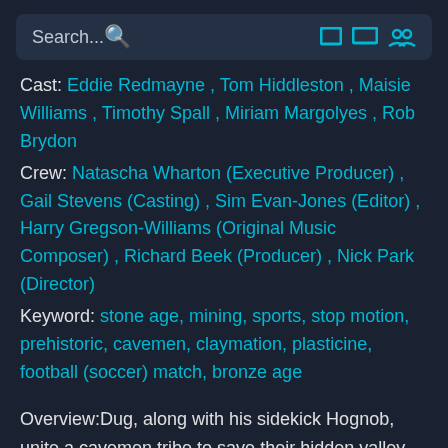Search...
Cast: Eddie Redmayne , Tom Hiddleston , Maisie Williams , Timothy Spall , Miriam Margolyes , Rob Brydon
Crew: Natascha Wharton (Executive Producer) , Gail Stevens (Casting) , Sim Evan-Jones (Editor) , Harry Gregson-Williams (Original Music Composer) , Richard Beek (Producer) , Nick Park (Director)
Keyword: stone age, mining, sports, stop motion, prehistoric, cavemen, claymation, plasticine, football (soccer) match, bronze age
Overview:Dug, along with his sidekick Hognob, unite a cavemen tribe to save their hidden valley from being spoiled and, all together as a team, to face the menace of a mysterious and mighty enemy, on the